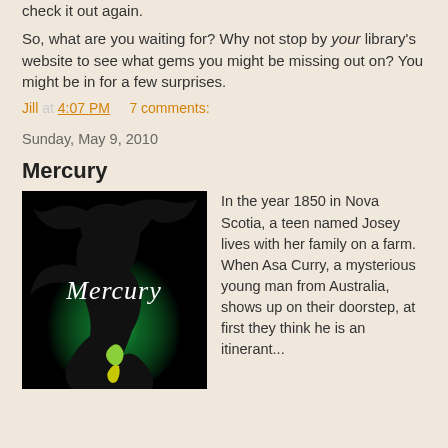check it out again.
So, what are you waiting for? Why not stop by your library's website to see what gems you might be missing out on? You might be in for a few surprises.
Jill at 4:07 PM    7 comments:
Sunday, May 9, 2010
Mercury
[Figure (illustration): Book cover for Mercury showing a silhouette of a girl with flowing hair against a green glowing background, with the title Mercury in white cursive script]
In the year 1850 in Nova Scotia, a teen named Josey lives with her family on a farm. When Asa Curry, a mysterious young man from Australia, shows up on their doorstep, at first they think he is an itinerant...